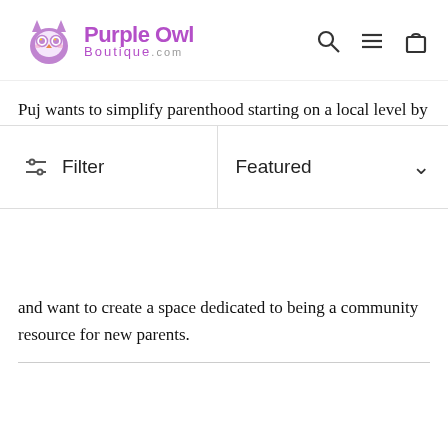[Figure (logo): Purple Owl Boutique.com logo with purple owl icon and purple/pink text]
Puj wants to simplify parenthood starting on a local level by bringing in curated products that they love and want to create a space dedicated to being a community resource for new parents.